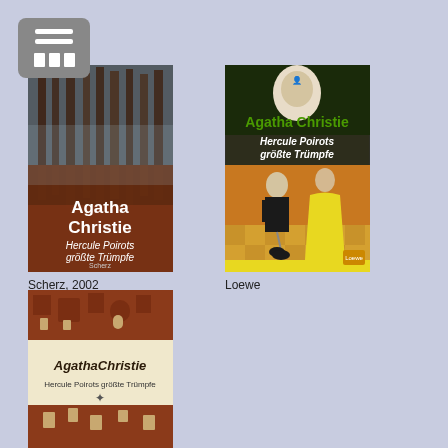[Figure (illustration): Book cover: Agatha Christie - Hercule Poirots größte Trümpfe, Scherz 2002 edition, dark forest background with autumn leaves, white author name and italic title text]
Scherz, 2002
[Figure (illustration): Book cover: Agatha Christie - Hercule Poirots größte Trümpfe, Loewe edition, dark green top with Agatha Christie green text, illustration of Poirot and woman in yellow dress]
Loewe
[Figure (illustration): Book cover: Agatha Christie - Hercule Poirots größte Trümpfe, another edition, red brick castle/building top and bottom, cream middle section with cursive Agatha Christie signature and title text]